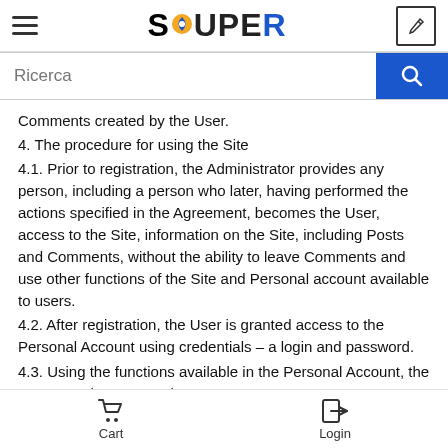SQUPER
Comments created by the User.
4. The procedure for using the Site
4.1. Prior to registration, the Administrator provides any person, including a person who later, having performed the actions specified in the Agreement, becomes the User, access to the Site, information on the Site, including Posts and Comments, without the ability to leave Comments and use other functions of the Site and Personal account available to users.
4.2. After registration, the User is granted access to the Personal Account using credentials – a login and password.
4.3. Using the functions available in the Personal Account, the User gets the opportunity to:
4.3.1. change credentials (email address and password), add
Cart   Login